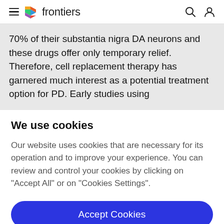frontiers
70% of their substantia nigra DA neurons and these drugs offer only temporary relief. Therefore, cell replacement therapy has garnered much interest as a potential treatment option for PD. Early studies using
We use cookies
Our website uses cookies that are necessary for its operation and to improve your experience. You can review and control your cookies by clicking on "Accept All" or on "Cookies Settings".
Accept Cookies
Cookies Settings